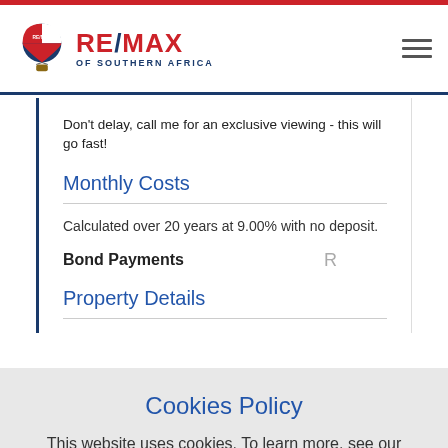[Figure (logo): RE/MAX of Southern Africa logo with hot air balloon icon]
Don't delay, call me for an exclusive viewing - this will go fast!
Monthly Costs
Calculated over 20 years at 9.00% with no deposit.
Bond Payments   R
Property Details
Cookies Policy
This website uses cookies. To learn more, see our Cookie Policy.
Accept